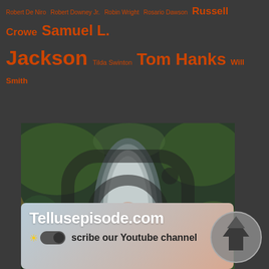Robert De Niro  Robert Downey Jr.  Robin Wright  Rosario Dawson  Russell Crowe  Samuel L. Jackson  Tilda Swinton  Tom Hanks  Will Smith
[Figure (photo): Instagram promotional image showing an aerial view of a person lying in a boat on water with vegetation. Overlaid with Instagram logo and text 'Follow us on Instagram / tellusepisode.com']
[Figure (screenshot): YouTube channel promotion widget showing 'Tellusepisode.com' title, toggle switch icon, and text 'scribe our Youtube channel' on a gradient background]
[Figure (logo): Circular logo with a tree/arrow-up shape icon in gray tones]